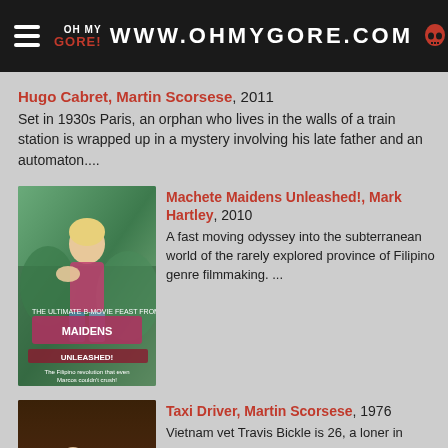OH MY GORE! WWW.OHMYGORE.COM
Hugo Cabret, Martin Scorsese, 2011
Set in 1930s Paris, an orphan who lives in the walls of a train station is wrapped up in a mystery involving his late father and an automaton....
[Figure (photo): Movie poster for Machete Maidens Unleashed! showing a woman in jungle setting]
Machete Maidens Unleashed!, Mark Hartley, 2010
A fast moving odyssey into the subterranean world of the rarely explored province of Filipino genre filmmaking. ...
[Figure (photo): Movie still from Taxi Driver showing a woman seated in dim candlelit room]
Taxi Driver, Martin Scorsese, 1976
Vietnam vet Travis Bickle is 26, a loner in